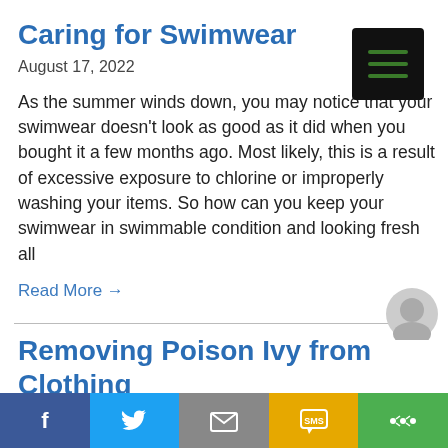Caring for Swimwear
August 17, 2022
As the summer winds down, you may notice that your swimwear doesn't look as good as it did when you bought it a few months ago. Most likely, this is a result of excessive exposure to chlorine or improperly washing your items. So how can you keep your swimwear in swimmable condition and looking fresh all
Read More →
Removing Poison Ivy from Clothing
July 13, 2022